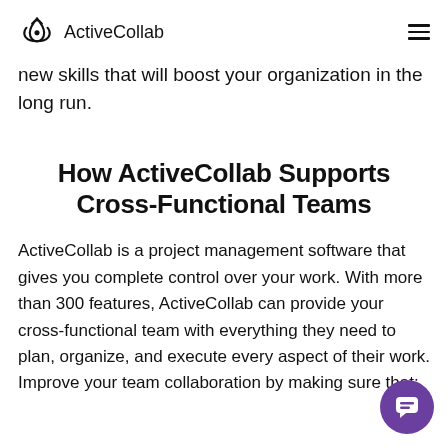ActiveCollab
new skills that will boost your organization in the long run.
How ActiveCollab Supports Cross-Functional Teams
ActiveCollab is a project management software that gives you complete control over your work. With more than 300 features, ActiveCollab can provide your cross-functional team with everything they need to plan, organize, and execute every aspect of their work. Improve your team collaboration by making sure that: